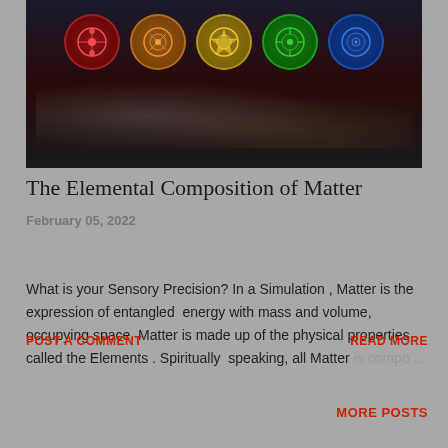[Figure (illustration): Dark space-themed banner image showing five circular lantern corps symbols in a row against a dark space background — red, orange, yellow, green, and blue glowing icons]
The Elemental Composition of Matter
February 05, 2022
What is your Sensory Precision? In a Simulation , Matter is the expression of entangled  energy with mass and volume, occupying space. Matter is made up of the physical properties called the Elements . Spiritually  speaking, all Matter is compo...
POST A COMMENT
READ MORE
MORE POSTS